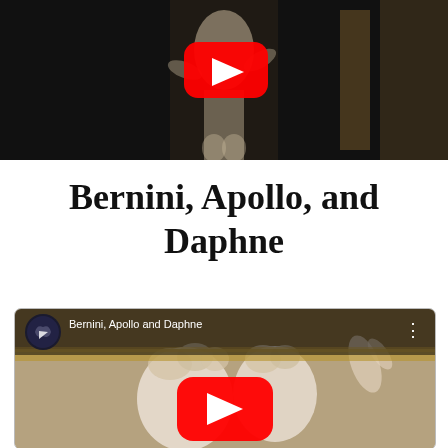[Figure (screenshot): YouTube video thumbnail showing Bernini sculpture (Apollo and Daphne) with a YouTube play button overlay on a dark/black background.]
Bernini, Apollo, and Daphne
[Figure (screenshot): Second YouTube video embed showing 'Bernini, Apollo and Daphne' with channel icon, video title in top bar, three-dot menu, and a large YouTube play button over a close-up photo of the marble sculpture showing two figures with curly hair.]